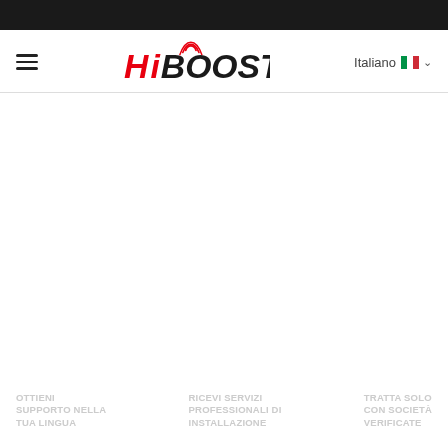[Figure (logo): HiBoost brand logo in red and black italic font with signal waves above the i]
Italiano
OTTIENI SUPPORTO NELLA TUA LINGUA
RICEVI SERVIZI PROFESSIONALI DI INSTALLAZIONE
TRATTA SOLO CON SOCIETÀ VERIFICATE